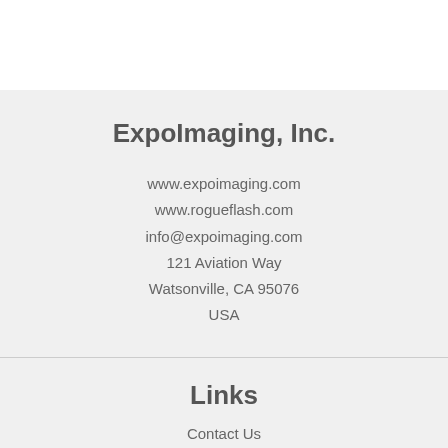ExpoImaging, Inc.
www.expoimaging.com
www.rogueflash.com
info@expoimaging.com
121 Aviation Way
Watsonville, CA 95076
USA
Links
Contact Us